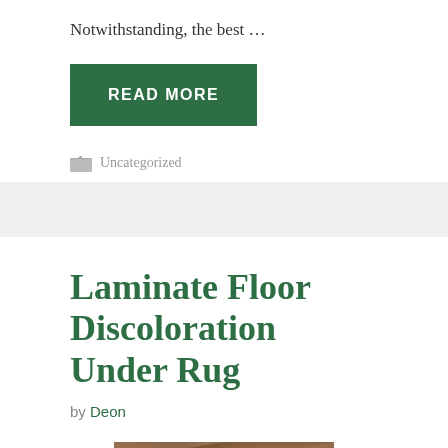Notwithstanding, the best …
READ MORE
Uncategorized
Laminate Floor Discoloration Under Rug
by Deon
[Figure (photo): Close-up photo of laminate flooring showing wood grain texture with discoloration]